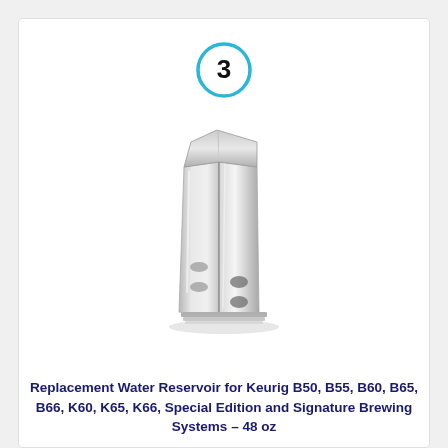[Figure (photo): A numbered circle badge showing '3' in bold black text with a cyan/light blue circular border, indicating item number 3 in a product listing.]
[Figure (photo): Product photo of a Keurig replacement water reservoir — a translucent silver/chrome plastic water tank with a triangular-ish top profile, shown on a white background.]
Replacement Water Reservoir for Keurig B50, B55, B60, B65, B66, K60, K65, K66, Special Edition and Signature Brewing Systems – 48 oz